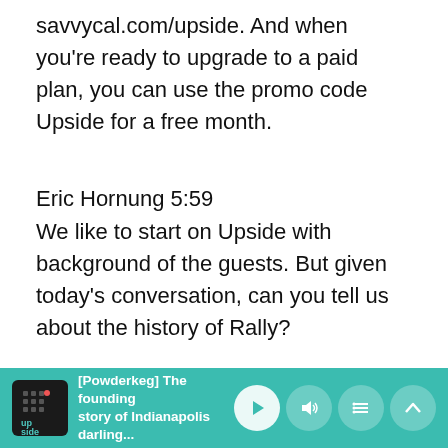savvycal.com/upside. And when you're ready to upgrade to a paid plan, you can use the promo code Upside for a free month.
Eric Hornung 5:59
We like to start on Upside with background of the guests. But given today's conversation, can you tell us about the history of Rally?
Bob Peter... 6:07
[Powderkeg] The founding story of Indianapolis darling...